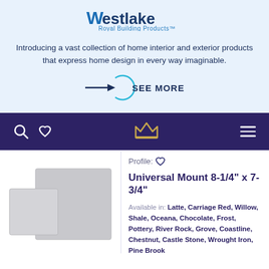[Figure (logo): Westlake Royal Building Products logo with blue W and navy text]
Introducing a vast collection of home interior and exterior products that express home design in every way imaginable.
[Figure (other): SEE MORE button with arrow pointing into a circle]
[Figure (other): Dark navy navigation bar with search icon, heart icon, crown/home icon, and hamburger menu]
[Figure (photo): Two grey square tile product images side by side]
Profile: (heart icon)
Universal Mount 8-1/4" x 7-3/4"
Available in: Latte, Carriage Red, Willow, Shale, Oceana, Chocolate, Frost, Pottery, River Rock, Grove, Coastline, Chestnut, Castle Stone, Wrought Iron, Pine Brook